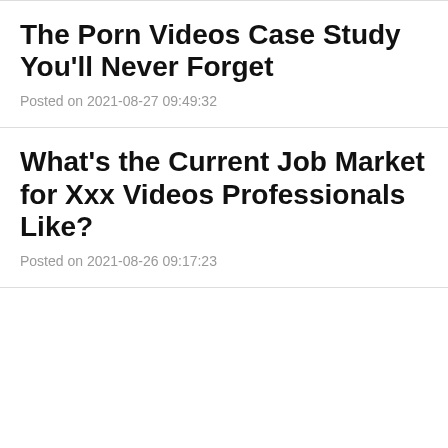The Porn Videos Case Study You'll Never Forget
Posted on 2021-08-27 09:49:32
What's the Current Job Market for Xxx Videos Professionals Like?
Posted on 2021-08-26 09:17:23